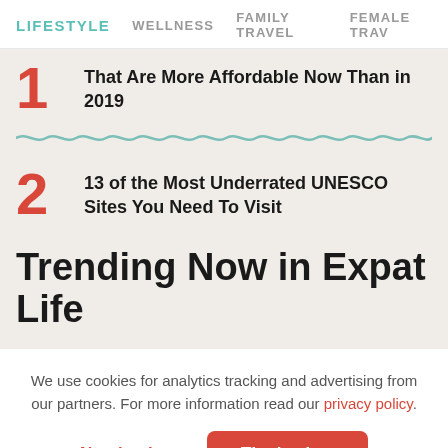LIFESTYLE  WELLNESS  FAMILY TRAVEL  FEMALE TRAV
That Are More Affordable Now Than in 2019
13 of the Most Underrated UNESCO Sites You Need To Visit
Trending Now in Expat Life
We use cookies for analytics tracking and advertising from our partners. For more information read our privacy policy.
No, thanks  That's okay